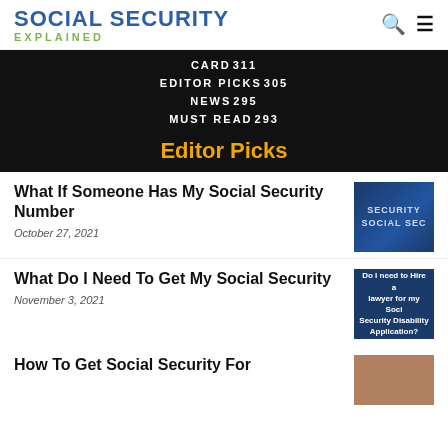SOCIAL SECURITY EXPLAINED
CARD 311
EDITOR PICKS 305
NEWS 295
MUST READ 293
Editor Picks
What If Someone Has My Social Security Number
October 27, 2021
[Figure (photo): Close-up of a Social Security card showing 'SECURITY' and 'SOCIAL SEC' text]
What Do I Need To Get My Social Security
November 3, 2021
[Figure (photo): Dark blue image with text: Do I need to Hire a lawyer for my Social Security Disability Application?]
How To Get Social Security For